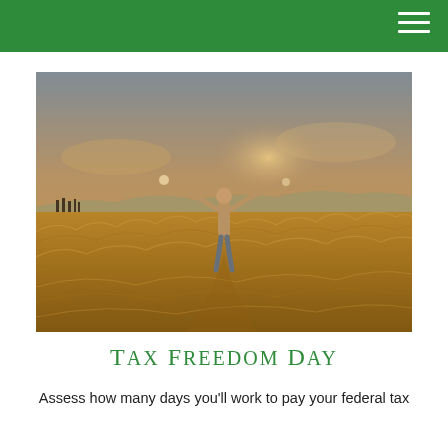[Figure (photo): A person standing in a golden wheat field with arms outstretched wide, backlit by warm sunlight, with mountains visible on the horizon under a dramatic sky.]
Tax Freedom Day
Assess how many days you'll work to pay your federal tax liability.